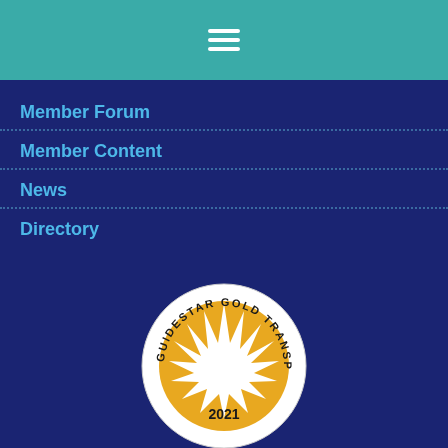[Figure (other): Teal navigation bar with white hamburger menu icon (three horizontal lines)]
Member Forum
Member Content
News
Directory
[Figure (logo): GuideStar Gold Transparency 2021 badge — circular white badge with gold star burst in center, text 'GUIDESTAR GOLD TRANSPARENCY' around the ring and '2021' at the bottom]
Powered by Wild Apricot Membership Software